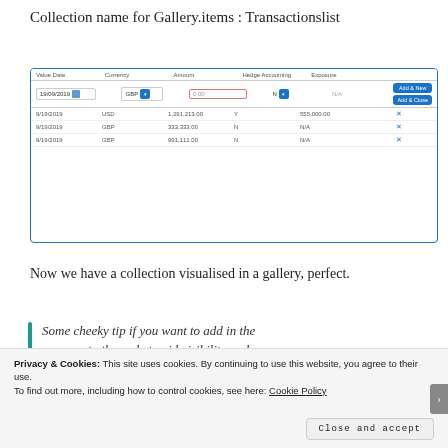Collection name for Gallery.items : Transactionslist
[Figure (screenshot): Screenshot of a transactions gallery form with columns: Value Date, Currency, Amount, Hedge Accounting, Exposure. Input row shows date 19/09/2019, GBP selector, amount field (0.00), N dropdown, N/A, and Add & New / Add & Close buttons. Three data rows: 9/19/2019 USD 1,291,213.00 Y 555,000.00; 9/19/2019 GBP 333,333.00 N N/A; 9/19/2019 GBP 991,111.00 N N/A]
Now we have a collection visualised in a gallery, perfect.
Some cheeky tip if you want to add in the commas to the code to aid visibility and
Privacy & Cookies: This site uses cookies. By continuing to use this website, you agree to their use.
To find out more, including how to control cookies, see here: Cookie Policy
Close and accept